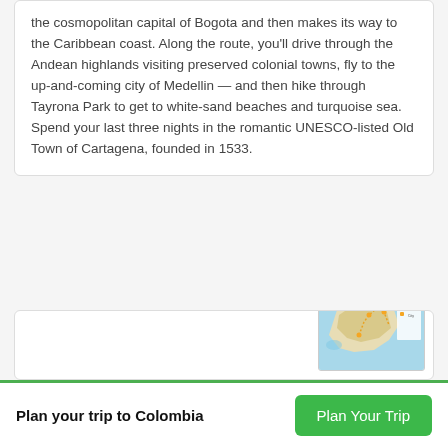the cosmopolitan capital of Bogota and then makes its way to the Caribbean coast. Along the route, you'll drive through the Andean highlands visiting preserved colonial towns, fly to the up-and-coming city of Medellin — and then hike through Tayrona Park to get to white-sand beaches and turquoise sea. Spend your last three nights in the romantic UNESCO-listed Old Town of Cartagena, founded in 1533.
[Figure (map): Small thumbnail map of Colombia showing Caribbean coast region with route markers and legend]
Plan your trip to Colombia
Plan Your Trip